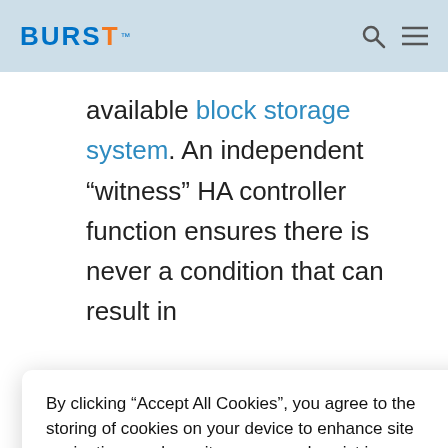BURST™
available block storage system. An independent “witness” HA controller function ensures there is never a condition that can result in “…”, … ted … nline.
By clicking “Accept All Cookies”, you agree to the storing of cookies on your device to enhance site navigation, analyze site usage, and assist in our marketing efforts. Learn more
Accept All Cookies